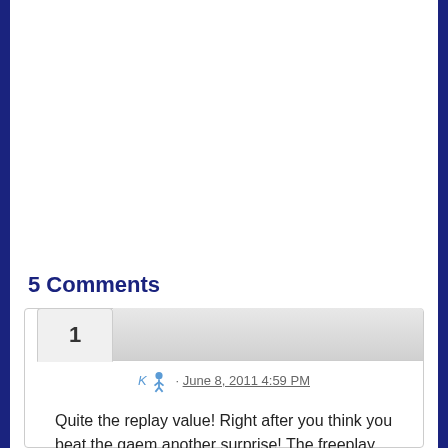5 Comments
1
K · June 8, 2011 4:59 PM
Quite the replay value! Right after you think you beat the gaem another surprise! The freeplay section provide level ups and achieve trophy